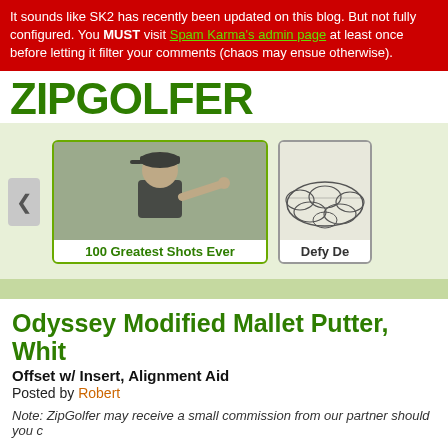It sounds like SK2 has recently been updated on this blog. But not fully configured. You MUST visit Spam Karma's admin page at least once before letting it filter your comments (chaos may ensue otherwise).
[Figure (logo): ZipGolfer logo in large bold green text]
[Figure (photo): Carousel showing '100 Greatest Shots Ever' with a man in black cap pointing at camera, and a partially visible 'Defy De...' card]
Odyssey Modified Mallet Putter, Whit...
Offset w/ Insert, Alignment Aid
Posted by Robert
Note: ZipGolfer may receive a small commission from our partner should you c...
This is a good putter to go with if you've been shaking in your boots over those short putts. The big mallet has a high MOI that will fix some slight miscues and help get your confidence back. I like the alignment aid on this mallet as well -- three black dots to help you line the ball up in the center of the clubface.